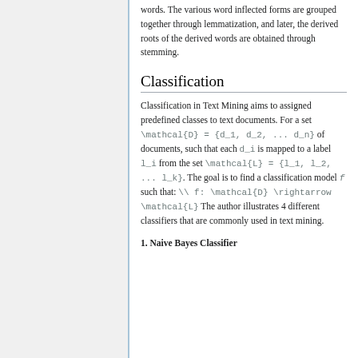words. The various word inflected forms are grouped together through lemmatization, and later, the derived roots of the derived words are obtained through stemming.
Classification
Classification in Text Mining aims to assigned predefined classes to text documents. For a set \mathcal{D} = {d_1, d_2, ... d_n} of documents, such that each d_i is mapped to a label l_i from the set \mathcal{L} = {l_1, l_2, ... l_k}. The goal is to find a classification model f such that: \\ f: \mathcal{D} \rightarrow \mathcal{L} The author illustrates 4 different classifiers that are commonly used in text mining.
1. Naive Bayes Classifier